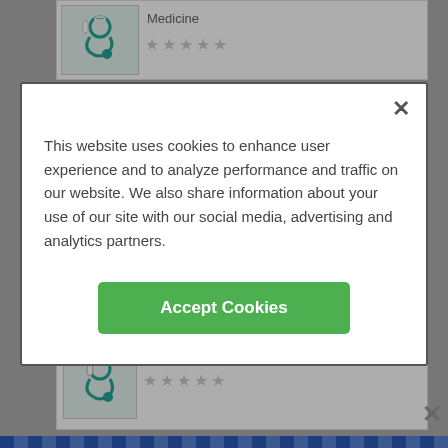[Figure (screenshot): Partial top card showing doctor/medicine listing with stethoscope icon and grey star rating]
[Figure (screenshot): Cookie consent modal dialog with close X button, descriptive text, and green Accept Cookies button]
This website uses cookies to enhance user experience and to analyze performance and traffic on our website. We also share information about your use of our site with our social media, advertising and analytics partners.
[Figure (screenshot): Green Accept Cookies button]
[Figure (screenshot): Medicine listing card with stethoscope image and 5 grey stars]
Medicine
801 7th Ave
Fort Worth, TX 76104
1.1 miles away
ADVERTISEMENT
[Figure (infographic): Healthgrades advertisement banner: 5-star doctors really do exist. Find Yours Today]